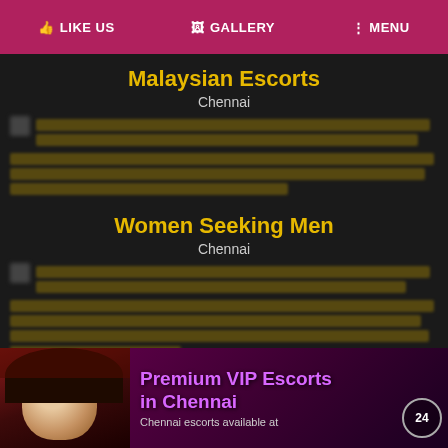LIKE US  GALLERY  MENU
Malaysian Escorts
Chennai
[Figure (other): Blurred/redacted text content block]
Women Seeking Men
Chennai
[Figure (other): Blurred/redacted text content block]
Model Escort Girls
Chennai
[Figure (infographic): Premium VIP Escorts in Chennai advertisement banner with woman photo, purple text and 24 badge. Text: Premium VIP Escorts in Chennai, Chennai escorts available at]